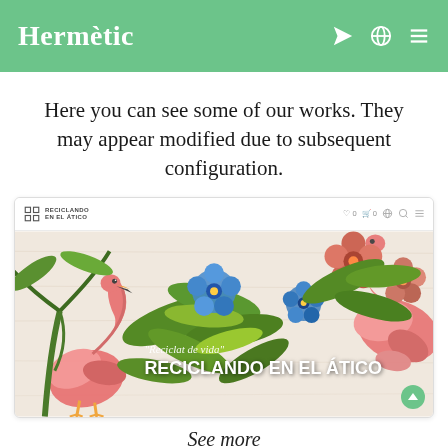Hermètic
Here you can see some of our works. They may appear modified due to subsequent configuration.
[Figure (screenshot): Screenshot of a website called 'Reciclando en el Ático' showing a tropical flamingo-themed banner image with the text 'Reciclat de vida' and 'RECICLANDO EN EL ÁTICO' overlaid on a colorful floral and flamingo illustration.]
See more